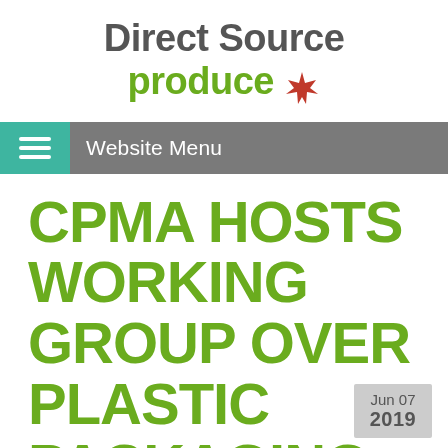[Figure (logo): Direct Source Produce logo with maple leaf icon. 'Direct Source' in dark gray bold text and 'produce' in green bold text with a red maple leaf.]
Website Menu
CPMA HOSTS WORKING GROUP OVER PLASTIC PACKAGING
Jun 07 2019